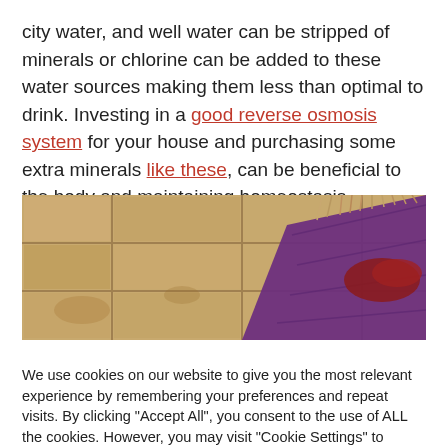city water, and well water can be stripped of minerals or chlorine can be added to these water sources making them less than optimal to drink. Investing in a good reverse osmosis system for your house and purchasing some extra minerals like these, can be beneficial to the body and maintaining homeostasis.
[Figure (photo): Close-up photo of beige/tan ceramic floor tiles with a purple yoga mat partially visible on the right side, along with what appears to be red/maroon athletic shoes.]
We use cookies on our website to give you the most relevant experience by remembering your preferences and repeat visits. By clicking "Accept All", you consent to the use of ALL the cookies. However, you may visit "Cookie Settings" to provide a controlled consent.